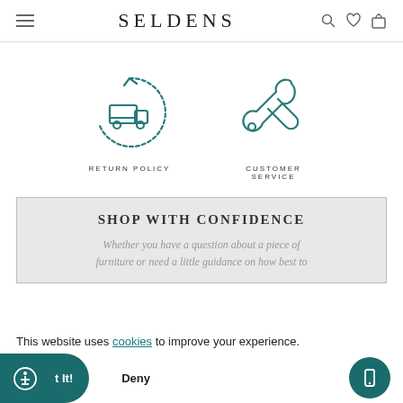SELDENS
[Figure (illustration): Return policy icon: truck inside a circular arrow]
[Figure (illustration): Customer service icon: wrench and screwdriver]
RETURN POLICY
CUSTOMER SERVICE
SHOP WITH CONFIDENCE
Whether you have a question about a piece of furniture or need a little guidance on how best to
This website uses cookies to improve your experience.
Deny